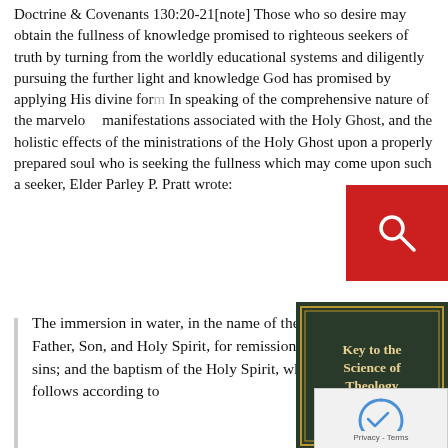Doctrine & Covenants 130:20-21[note] Those who so desire may obtain the fullness of knowledge promised to righteous seekers of truth by turning from the worldly educational systems and diligently pursuing the further light and knowledge God has promised by applying His divine form. In speaking of the comprehensive nature of the marvelous manifestations associated with the Holy Ghost, and the holistic effects of the ministrations of the Holy Ghost upon a properly prepared soul who is seeking the fullness which may come upon such a seeker, Elder Parley P. Pratt wrote:
[Figure (screenshot): Red search button overlay with magnifying glass icon]
The immersion in water, in the name of the Father, Son, and Holy Spirit, for remission of sins; and the baptism of the Holy Spirit, which follows according to
[Figure (photo): Book cover: 'Key to the Science of Theology' by Parley P. Pratt, dark blue/green cover with gold text]
[Figure (screenshot): reCAPTCHA privacy box with Privacy - Terms text]